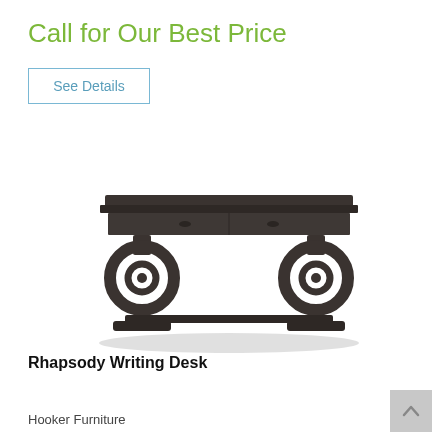Call for Our Best Price
See Details
[Figure (photo): A dark wood writing desk with ornate scrolled trestle legs and a stretcher base, featuring a flat top with a long drawer, shown in dark espresso/charcoal finish.]
Rhapsody Writing Desk
Hooker Furniture